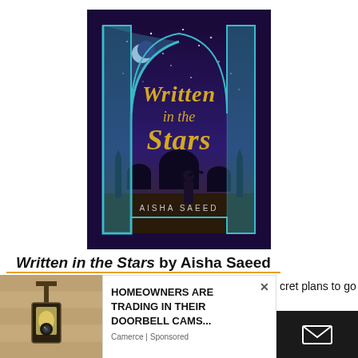[Figure (illustration): Book cover of 'Written in the Stars' by Aisha Saeed. Dark purple/blue night sky with stars, silhouette of a person standing, mosque/palace silhouette in background, ornate teal Mughal arch border with floral patterns, crescent moon, gold calligraphic title text.]
Written in the Stars by Aisha Saeed
cret plans to go
[Figure (photo): Photo of an outdoor wall lamp/lantern mounted on a stone or adobe wall.]
HOMEOWNERS ARE TRADING IN THEIR DOORBELL CAMS...
Camerce | Sponsored
[Figure (screenshot): Dark rectangle with white envelope/mail icon in the center.]